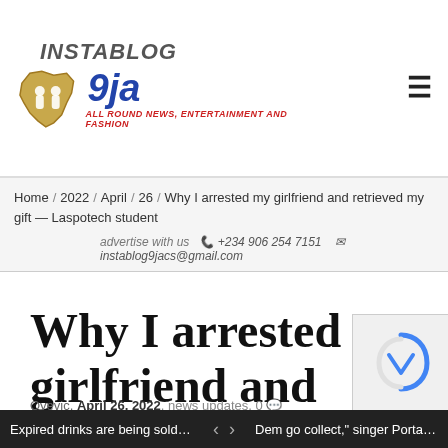[Figure (logo): Instablog9ja logo with map of Nigeria shape, two figures, and text 'ALL ROUND NEWS, ENTERTAINMENT AND FASHION']
Home / 2022 / April / 26 / Why I arrested my girlfriend and retrieved my gift — Laspotech student
advertise with us  +234 906 254 7151  instablog9jacs@gmail.com
Why I arrested my girlfriend and retrieved my gift — Laspotech student
Oyevic, April 26, 2022, news updates, 0
Expired drinks are being sold at the N… < > Dem go collect," singer Portable issues…